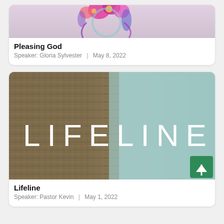[Figure (photo): Partial image of colorful floral arrangement on lavender background, clipped at top of page]
Pleasing God
Speaker: Gloria Sylvester  |  May 8, 2022
[Figure (photo): Photo of coiled rope/jute twine on left side and teal/light blue background on right, with large white text 'LIFELINE' across the middle. Green scroll-to-top button in bottom right corner.]
Lifeline
Speaker: Pastor Kevin  |  May 1, 2022